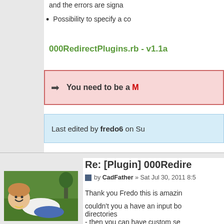and the errors are signa
• Possibility to specify a co
000RedirectPlugins.rb - v1.1a
➡  You need to be a M
Last edited by fredo6 on Su
Re: [Plugin] 000Redire
by CadFather » Sat Jul 30, 2011 8:5
Thank you Fredo this is amazin
couldn't you a have an input bo directories
- then you can have custom se